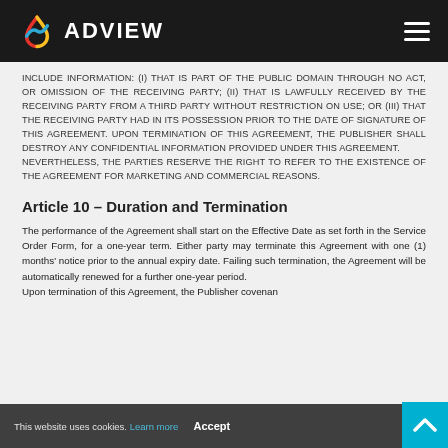ADVIEW
INCLUDE INFORMATION: (I) THAT IS PART OF THE PUBLIC DOMAIN THROUGH NO ACT, OR OMISSION OF THE RECEIVING PARTY; (II) THAT IS LAWFULLY RECEIVED BY THE RECEIVING PARTY FROM A THIRD PARTY WITHOUT RESTRICTION ON USE; OR (III) THAT THE RECEIVING PARTY HAD IN ITS POSSESSION PRIOR TO THE DATE OF SIGNATURE OF THIS AGREEMENT. UPON TERMINATION OF THIS AGREEMENT, THE PUBLISHER SHALL DESTROY ANY CONFIDENTIAL INFORMATION PROVIDED UNDER THIS AGREEMENT. NEVERTHELESS, THE PARTIES RESERVE THE RIGHT TO REFER TO THE EXISTENCE OF THE AGREEMENT FOR MARKETING AND COMMERCIAL REASONS.
Article 10 – Duration and Termination
The performance of the Agreement shall start on the Effective Date as set forth in the Service Order Form, for a one-year term. Either party may terminate this Agreement with one (1) months' notice prior to the annual expiry date. Failing such termination, the Agreement will be automatically renewed for a further one-year period. Upon termination of this Agreement, the Publisher covenan